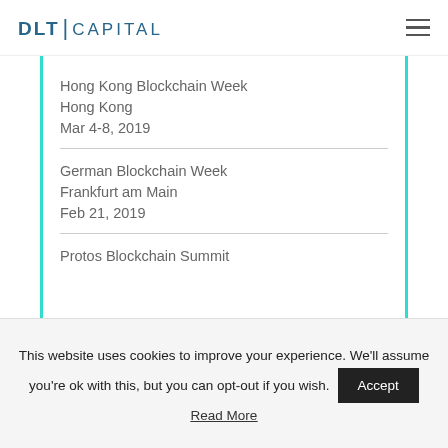DLT | CAPITAL
Hong Kong Blockchain Week
Hong Kong
Mar 4-8, 2019
German Blockchain Week
Frankfurt am Main
Feb 21, 2019
Protos Blockchain Summit
This website uses cookies to improve your experience. We'll assume you're ok with this, but you can opt-out if you wish. Accept
Read More